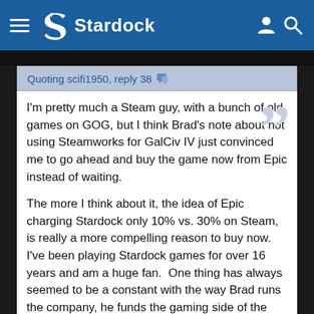Stardock
Quoting scifi1950, reply 38
I'm pretty much a Steam guy, with a bunch of old games on GOG, but I think Brad's note about not using Steamworks for GalCiv IV just convinced me to go ahead and buy the game now from Epic instead of waiting.

The more I think about it, the idea of Epic charging Stardock only 10% vs. 30% on Steam, is really a more compelling reason to buy now.  I've been playing Stardock games for over 16 years and am a huge fan.  One thing has always seemed to be a constant with the way Brad runs the company, he funds the gaming side of the business way beyond it's contribution.  Games are his passion.  So if using Epic